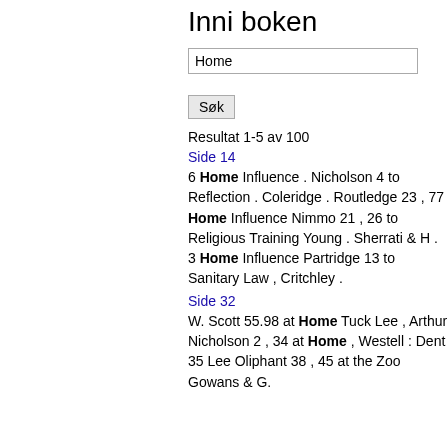Inni boken
Home
Søk
Resultat 1-5 av 100
Side 14
6 Home Influence . Nicholson 4 to Reflection . Coleridge . Routledge 23 , 77 Home Influence Nimmo 21 , 26 to Religious Training Young . Sherrati & H . 3 Home Influence Partridge 13 to Sanitary Law , Critchley .
Side 32
W. Scott 55.98 at Home Tuck Lee , Arthur Nicholson 2 , 34 at Home , Westell : Dent 35 Lee Oliphant 38 , 45 at the Zoo Gowans & G.